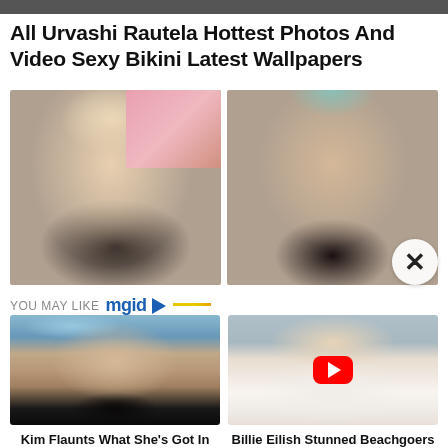[Figure (photo): Top strip partial image]
All Urvashi Rautela Hottest Photos And Video Sexy Bikini Latest Wallpapers
[Figure (photo): Two photos side by side: left – woman with long dark hair smiling selfie with pink background; right – woman with long dark curly hair against teal patterned background]
YOU MAY LIKE mgid
[Figure (photo): Left: Kim Kardashian-style woman with dark hair outdoors. Right: Billie Eilish-style blonde woman in white with YouTube play button overlay.]
Kim Flaunts What She's Got In This Epic Bikini Set
Billie Eilish Stunned Beachgoers In Inappropriate Swimsuit